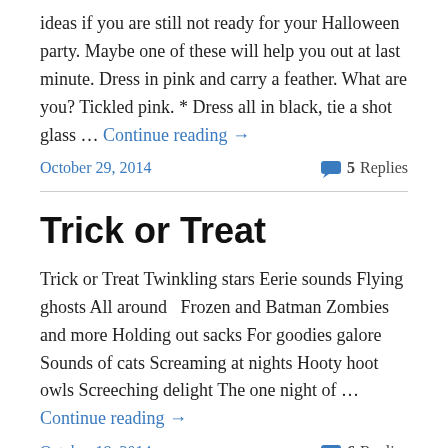ideas if you are still not ready for your Halloween party. Maybe one of these will help you out at last minute. Dress in pink and carry a feather. What are you? Tickled pink. * Dress all in black, tie a shot glass … Continue reading →
October 29, 2014
5 Replies
Trick or Treat
Trick or Treat Twinkling stars Eerie sounds Flying ghosts All around   Frozen and Batman Zombies and more Holding out sacks For goodies galore   Sounds of cats Screaming at nights Hooty hoot owls Screeching delight The one night of … Continue reading →
October 18, 2014
6 Replies